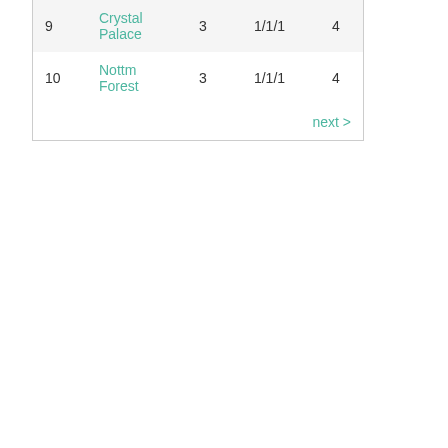| 9 | Crystal Palace | 3 | 1/1/1 | 4 |
| 10 | Nottm Forest | 3 | 1/1/1 | 4 |
next >